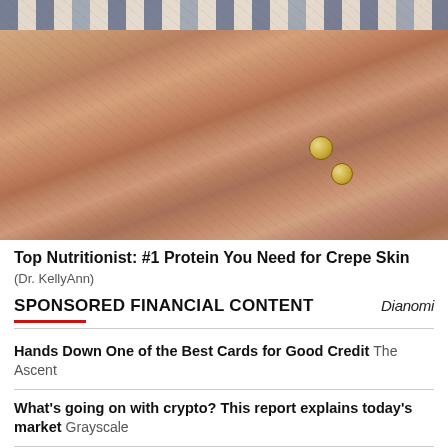[Figure (photo): Close-up photo of elderly person's wrinkled forearms crossed, wearing gold bracelets, with striped shirt visible at top]
Top Nutritionist: #1 Protein You Need for Crepe Skin
(Dr. KellyAnn)
SPONSORED FINANCIAL CONTENT
Dianomi
Hands Down One of the Best Cards for Good Credit The Ascent
What's going on with crypto? This report explains today's market Grayscale